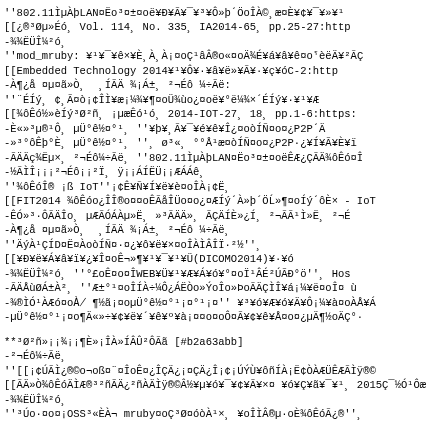''802.11ÌµÀþLAN¤Ëo³¤±¤ë¥Ð¥Ã¥¯¥³¥Ô»þ´ÖoÎÀ©¸æ¤È¥¢¥¯¥»¥¹
[[¿®³Øµ»Éó¸ Vol. 114¸ No. 335¸ IA2014-65¸ pp.25-27:http
-¾¾ËÜÎ¼²ó¸
''mod_mruby: ¥¹¥¯¥ê×¥È¸ÀÀÈ¡¤oÇ¹âÂ®o«¤oÄ¾É¥á¥â¥ê¤oˤèëÄ¥²ÃÇ
[[Embedded Technology 2014¥¹¥Ô¥·¥â¥ë»¥Ã¥·¥ç¥óC-2:http
-À¶¿å ¤µ¤ã»Ò¸ ¸ÍÃÄ ¾¡Á±¸ ²¬Éô ¼÷Ãë:
''¨ÉÍý¸ ¢¸Ã¤ò¡¢ÎÌ¥æ¡¼¾¥¶¤oÜ¾ùo¿¤oë¥°ë¼¾×´ÉÍý¥·¥¹¥Æ
[[¾ôÊó½»èÍý³Ø²ñ¸ ¡µæÊó¹ó¸ 2014-IOT-27¸ 18¸ pp.1-6:https:
-È«»³µ®¹Ô¸ µÜ°ê½¤°¹¸ ''¥þ¥¸Ã¥¯¥é¥ê¥Î¿¤oòÍÑ¤o¤¿P2P´Ä
-»³°ôÊþ°È¸ µÜ°ê½¤°¹¸ ''¸ ø³«¸ °°Å¹æ¤òÍÑ¤o¤¿P2P·¿¥Í¥Ã¥È¥ï
-ÃÄÄç¾Ëµ×¸ ²¬Éô¼÷Ãë¸ ''802.11ÌµÀþLAN¤Ëo³¤±¤oëÊÆ¿ÇÃÄ¾ôÊó¤Î
-½ÃÌÎ¡¡¡²¬Éô¡¡²Ï¸ ÿ¡¡ÁÍËÜ¡¡ÆÁÁê¸
''¾ôÊóÎ® ¡ß IoT''¡¢Ê¥Ñ¥Í¥ë¥è¤oÎÀ¡¢Ë¸
[[FIT2014 ¾ôÊóo¿ÎÎ®o¤¤oÊÃåÎÜo¤o¿¤ÆÍý´À»þ´ÖĹ»¶¤oÍý´ôÈ× - IoT
-ÊÓ»³·ÔÃÄÎo¸ µÆÃÓÁÀµ»Ë¸ »³ÃÄÄ»¸ ÃÇÄÍÈ»¿Í¸ ²¬ÃÃ¹Ì»Ë¸ ²¬É
-À¶¿å ¤µ¤ã»Ò¸ ¸ÍÃÄ ¾¡Á±¸ ²¬Éô ¼÷Ãë¸
''ÄýÀ¹ÇÍD¤Ë¤ÀoòÍÑ¤·¤¿¥ô¥ë¥×¤oÎÀÌÂÎÏ·²½''¸
[[¥Ð¥ë¥Á¥â¥ï¥¿¥Î¤oÊ¬»¶¥¹¥¯¥¹¥Ü(DICOMO2014)¥·¥ó
-¾¾ËÜÎ¼²ó¸ ''°£oÊ¤o¤ÎWEB¥Ü¥¹¥Æ¥Á¥ó¥°¤oÏ¹ÂÉ²ÚÃÐ°ö''¸ Hos
-ÃÄÅùØÁ±À²¸ ''Æ±°¹¤oÎÍÀ÷¼Ô¿ÁËÒo»ÝoÎo»ÞoÃÄÇÌÎ¥á¡¼¥ë¤oÎ¤ ù
-¾®ÌÓ¹ÀÆó¤oÀ̸ ¶½ã¡¤oµÜ°ê½¤°¹¡¤°¹¡¤'' ¥³¥ó¥Æ¥ó¥Ä¥Ô¡¼¥à¤oÀÅ¥Á
-µÜ°ê½¤°¹¡¤o¶Ä«»÷¥¢¥ë¥´¥ê¥º¥à¡¤¤o¤oÔ¤Ã¥¢¥ê¥Å¤o¤¿µÄ¶½oÄÇ°·
**³Ø²ñ»¡¡¾¡¡¶È»¡ÎÀ»ÍÂÛ²ÔÃã [#b2a63abb]
-²¬Éô¼÷Ãë¸
''[[¡¢ÚÃÌ¿®©o¬oß¤¨¤ÎoÊ¤¿ÎÇÄ¿¡¤ÇÄ¿Î¡¢¡ÚÝÙ¥ôñÍÀ¡Ë¢ÒÀÆÜÊÆÃÌÿ®©
[[ÃÄ»Ò¾ôÊóÄÌÆ®³²ñÃÄ¿²ñÀÄÌÿ®©Â½¥µ¥ó¥¯¥¢¥Ã¥×¤ ¥ó¥Ç¥ã¥¯¥¹¸ 2015Ç¯½Ó¹Ôæ
-¾¾ËÜÎ¼²ó¸
''³Úo·¤o¤¡OSS³«ÈÀ¬ mruby¤oÇ³Ø¤óòÀ¹×¸ ¥oÎÌÂ®µ·oÈ¾ôÊóÃ¿®''¸